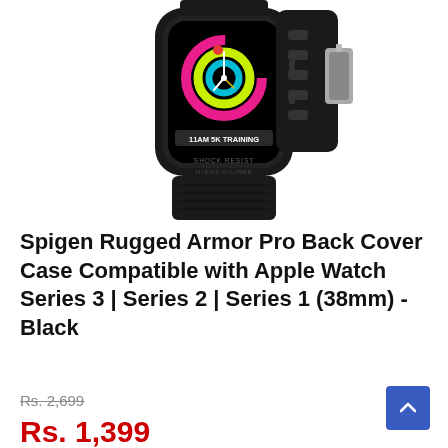[Figure (photo): Spigen Rugged Armor Pro Apple Watch case in black, showing the watch face with a colorful activity ring display and the watch band with buckle]
Spigen Rugged Armor Pro Back Cover Case Compatible with Apple Watch Series 3 | Series 2 | Series 1 (38mm) - Black
Rs. 2,699
Rs. 1,399